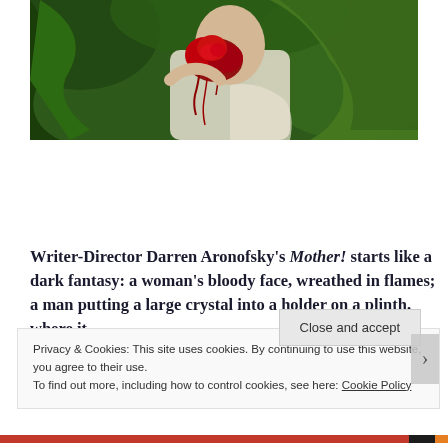[Figure (photo): Top portion of a fantasy illustration showing a woman in white holding bloody red flowers, with green foliage background and flowing hair]
Writer-Director Darren Aronofsky's Mother! starts like a dark fantasy: a woman's bloody face, wreathed in flames; a man putting a large crystal into a holder on a plinth, where it
Privacy & Cookies: This site uses cookies. By continuing to use this website, you agree to their use.
To find out more, including how to control cookies, see here: Cookie Policy
Close and accept